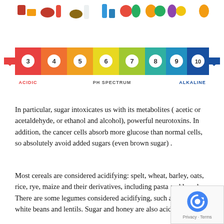[Figure (infographic): pH spectrum infographic showing food items arranged on a color gradient from red (acidic, pH 3) on the left to dark blue (alkaline, pH 10) on the right. Numbers 3 through 10 appear in circles along the spectrum. Labels: ACIDIC on the left, PH SPECTRUM in the center, ALKALINE on the right. Red and blue arrows point outward from the center. Various food icons (meats, dairy, grains, vegetables, fruits) are displayed above the color bands.]
In particular, sugar intoxicates us with its metabolites (acetic or acetaldehyde, or ethanol and alcohol), powerful neurotoxins. In addition, the cancer cells absorb more glucose than normal cells, so absolutely avoid added sugars (even brown sugar).
Most cereals are considered acidifying: spelt, wheat, barley, oats, rice, rye, maize and their derivatives, including pasta and bread. There are some legumes considered acidifying, such as chickpeas, white beans and lentils. Sugar and honey are also acidifying foods.